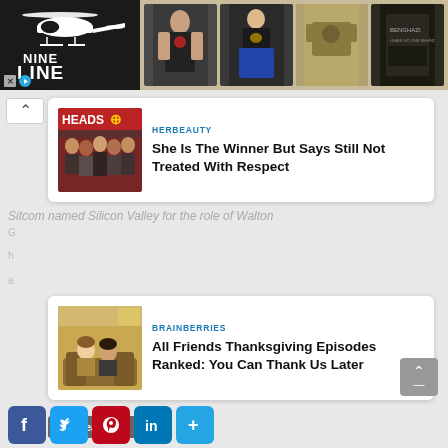[Figure (screenshot): Nine Line Apparel advertisement banner with dark left section showing helicopter logo and 'NINE LINE' text, right section showing military-themed t-shirt products]
[Figure (screenshot): HerBeauty sponsored content card with group photo thumbnail. Source: HERBEAUTY. Title: She Is The Winner But Says Still Not Treated With Respect]
Sitcom named Silicon Valley for the role of Walton
[Figure (screenshot): Brainberries sponsored content card with Friends TV show thumbnail. Source: BRAINBERRIES. Title: All Friends Thanksgiving Episodes Ranked: You Can Thank Us Later]
Read more
[Figure (screenshot): Back to top button (grey square with up arrow and dash)]
Celeb
[Figure (screenshot): Social media sharing bar with Facebook, Twitter, Pinterest, LinkedIn, and More (+) buttons]